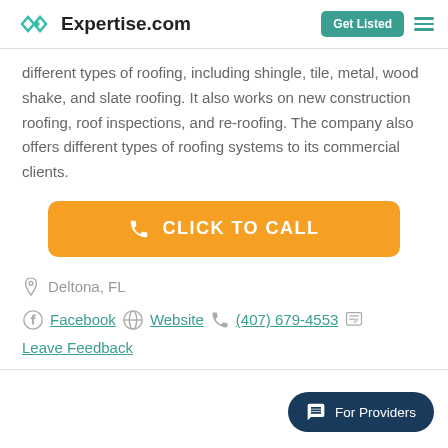Expertise.com | Get Listed
different types of roofing, including shingle, tile, metal, wood shake, and slate roofing. It also works on new construction roofing, roof inspections, and re-roofing. The company also offers different types of roofing systems to its commercial clients.
[Figure (other): Orange call-to-action button with phone icon and text CLICK TO CALL]
Deltona, FL
Facebook  Website  (407) 679-4553
Leave Feedback
[Figure (other): Dark teal For Providers chat pill button in bottom right corner]